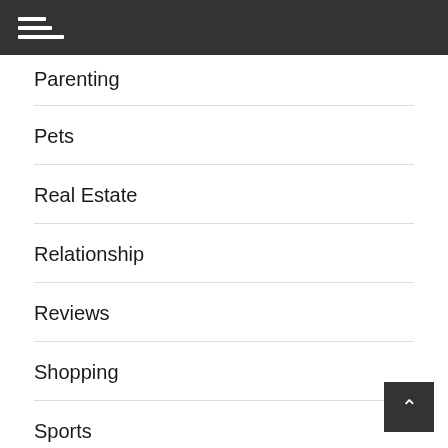Parenting
Pets
Real Estate
Relationship
Reviews
Shopping
Sports
Technology
Travel